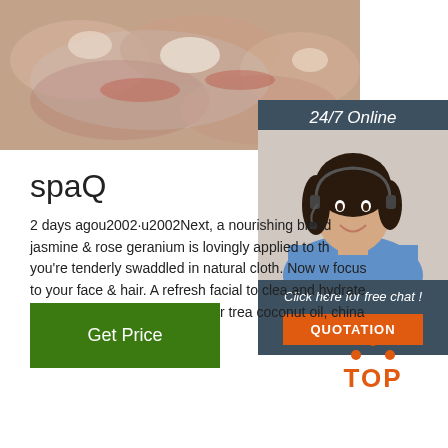[Figure (photo): Close-up photo of raw meat/bone pieces wrapped in plastic packaging]
[Figure (photo): 24/7 Online chat panel with photo of smiling female customer service agent wearing headset, dark blue/slate background, with 'Click here for free chat!' text and orange QUOTATION button]
spaQ
2 days agou2002·u2002Next, a nourishing blend jasmine & rose geranium is lovingly applied to th you're tenderly swaddled in natural cloth. Now w focus to your face & hair. A refresh facial to clea and hydrate your skin, and a nourishing hair trea coconut oil, china bark extract and essential oils
[Figure (other): Green 'Get Price' button]
[Figure (logo): Orange TOP logo with dot triangle above the word TOP]